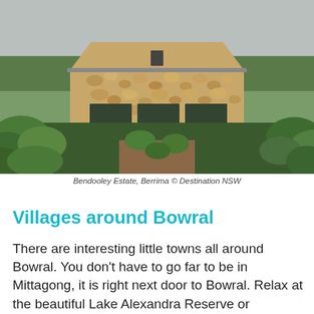[Figure (photo): Photo of Bendooley Estate in Berrima showing a stone building with gabled roof and vineyard in the foreground, overcast sky]
Bendooley Estate, Berrima © Destination NSW
Villages around Bowral
There are interesting little towns all around Bowral. You don't have to go far to be in Mittagong, it is right next door to Bowral. Relax at the beautiful Lake Alexandra Reserve or